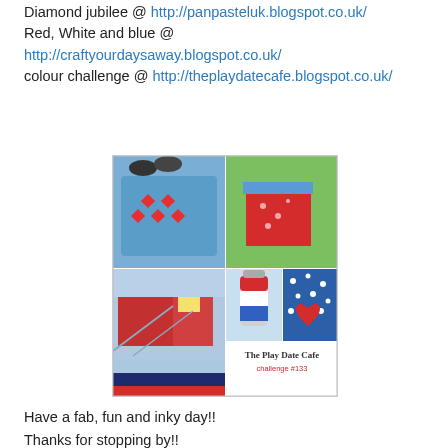Diamond jubilee @ http://panpasteluk.blogspot.co.uk/
Red, White and blue @ http://craftyourdaysaway.blogspot.co.uk/
colour challenge @ http://theplaydatecafe.blogspot.co.uk/
[Figure (photo): The Play Date Cafe challenge #133 collage image showing red, white and blue themed photos: a blue T-shirt with red cross pattern, a woman in red skirt with blue belt, a red barn building, a red-white-blue thermos, blue fabric with white dots and red heart motif, and color swatches of light blue, dark navy, and red at the bottom.]
Have a fab, fun and inky day!!
Thanks for stopping by!!
[Figure (photo): Blogger profile image showing the word 'trace' in teal block letters surrounded by antique pocket watches, gears and clock parts arranged as a decorative collage.]